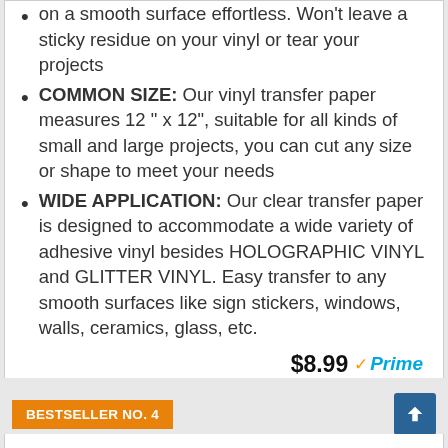on a smooth surface effortless. Won't leave a sticky residue on your vinyl or tear your projects
COMMON SIZE: Our vinyl transfer paper measures 12 " x 12", suitable for all kinds of small and large projects, you can cut any size or shape to meet your needs
WIDE APPLICATION: Our clear transfer paper is designed to accommodate a wide variety of adhesive vinyl besides HOLOGRAPHIC VINYL and GLITTER VINYL. Easy transfer to any smooth surfaces like sign stickers, windows, walls, ceramics, glass, etc.
$8.99 Prime
Buy on Amazon
BESTSELLER NO. 4